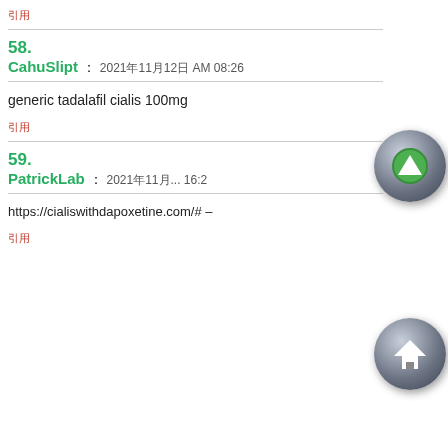引用
58. CahuSlipt : 2021年11月12日 AM 08:26
generic tadalafil cialis 100mg
引用
59. PatrickLab : 2021年11月... 16:2...
https://cialiswithdapoxetine.com/# –
引用